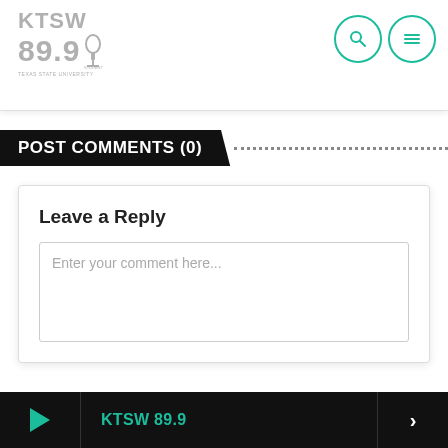[Figure (logo): KTSW 89.9 radio station logo in grey with microphone icon]
[Figure (other): Navigation icons: search (magnifying glass) and menu (hamburger) in teal circles]
POST COMMENTS (0)
Leave a Reply
Enter your comment here...
KTSW 89.9